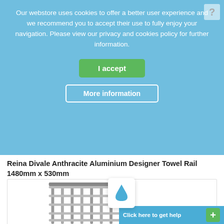Our webstore uses cookies to offer a better user experience and we recommend you to accept their use to fully enjoy your navigation. Please view our privacy and cookies policy for further information.
I accept
More information
Reina Divale Anthracite Aluminium Designer Towel Rail 1480mm x 530mm
From £ 340.40
DETAILS »
[Figure (photo): Partial view of a chrome/aluminium towel rail with multiple horizontal bars]
Click here to get help